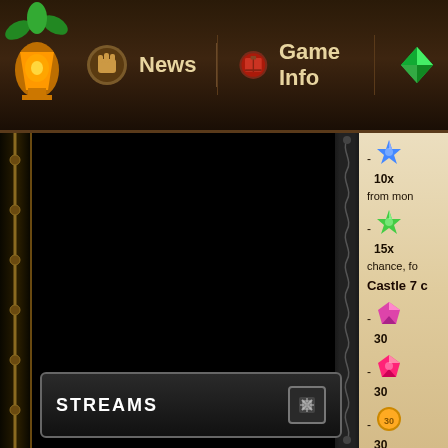News | Game Info | Rati...
[Figure (screenshot): Game interface showing navigation bar with News, Game Info, and Rating menu items with icons, a large black content panel on the left, and a parchment-style panel on the right showing game item rewards including blue gem 10x, green gem 15x, Castle 7 rewards with 30x items, and a Streams section at the bottom.]
- [blue gem] 10x from mon...
- [green gem] 15x chance, fo...
Castle 7 c
- [pink gem 1] 30
- [pink gem 2] 30
- [coin 30] 30
STREAMS